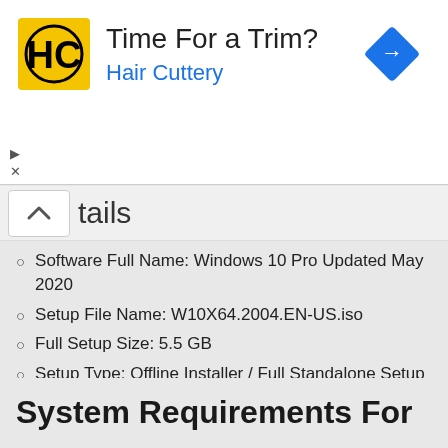[Figure (screenshot): Hair Cuttery advertisement banner with logo, text 'Time For a Trim? Hair Cuttery', and a blue navigation arrow icon]
tails
Software Full Name: Windows 10 Pro Updated May 2020
Setup File Name: W10X64.2004.EN-US.iso
Full Setup Size: 5.5 GB
Setup Type: Offline Installer / Full Standalone Setup
Compatibility Architecture: 64 Bit (x64)
Latest Version Release Added On: 21th May 2020
Developers: Windows
System Requirements For